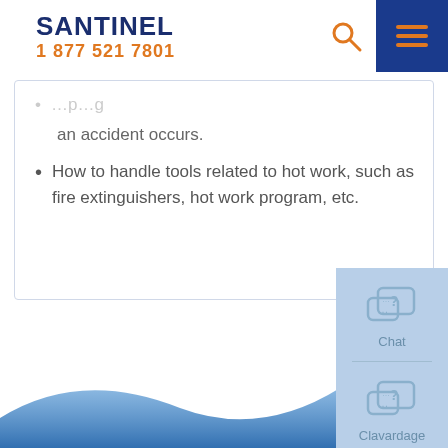SANTINEL
1 877 521 7801
an accident occurs.
How to handle tools related to hot work, such as fire extinguishers, hot work program, etc.
[Figure (other): Chat and Clavardage widget icons on light blue panel, bottom right corner of page]